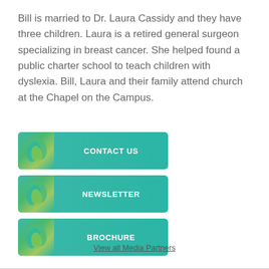Bill is married to Dr. Laura Cassidy and they have three children. Laura is a retired general surgeon specializing in breast cancer. She helped found a public charter school to teach children with dyslexia. Bill, Laura and their family attend church at the Chapel on the Campus.
[Figure (infographic): Three teal/green buttons labeled CONTACT US, NEWSLETTER, and BROCHURE, each with a decorative leaf icon on the left side.]
View all Media Partners